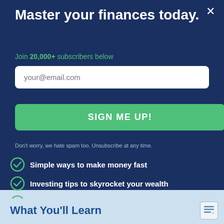Master your finances today.
Join 20,000+ subscribers below
your@email.com
SIGN ME UP!
Don't worry, we hate spam too. Unsubscribe at any time.
Simple ways to make money fast
Investing tips to skyrocket your wealth
Expert advice to save money fast
What You'll Learn